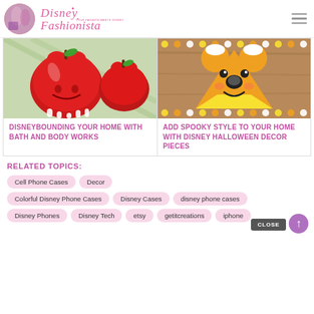Disney Fashionista
[Figure (photo): Snow White poisoned apple held by white-gloved hands with a disney-themed background]
DISNEYBOUNDING YOUR HOME WITH BATH AND BODY WORKS
[Figure (photo): Mickey Mouse candy corn shaped decoration on a wooden background with candy corn border]
ADD SPOOKY STYLE TO YOUR HOME WITH DISNEY HALLOWEEN DECOR PIECES
RELATED TOPICS:
Cell Phone Cases
Decor
Colorful Disney Phone Cases
Disney Cases
disney phone cases
Disney Phones
Disney Tech
etsy
getitcreations
iphone